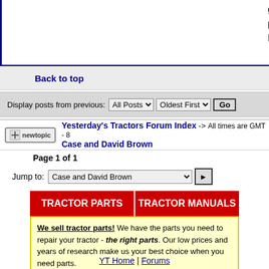gotten your pumps repaired pretty reasonably! post again after the problem is fixed. Later.
Back to top
Display posts from previous: All Posts | Oldest First | Go
Yesterday's Tractors Forum Index -> Case and David Brown   All times are GMT - 8
Page 1 of 1
Jump to: Case and David Brown
TRACTOR PARTS | TRACTOR MANUALS
We sell tractor parts! We have the parts you need to repair your tractor - the right parts. Our low prices and years of research make us your best choice when you need parts. Shop Online Today. [ About Us ]
YT Home | Forums